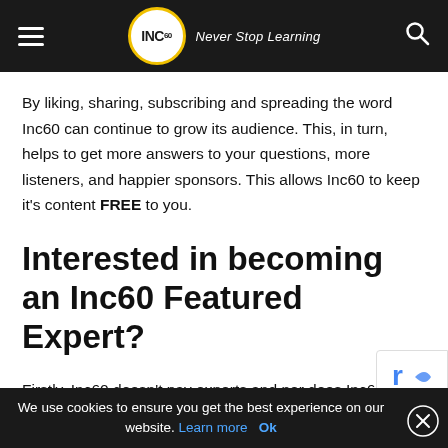INC60 Never Stop Learning
By liking, sharing, subscribing and spreading the word Inc60 can continue to grow its audience. This, in turn, helps to get more answers to your questions, more listeners, and happier sponsors. This allows Inc60 to keep it's content FREE to you.
Interested in becoming an Inc60 Featured Expert?
Firstly, Inc60 doesn't pay experts and nor does Inc60 get paid by experts. All advice is neutral with no agenda by Inc60. Many experts simply want to try and help other business people and Inc60 want to help you in return also a great platform and channel to raise your profile
We use cookies to ensure you get the best experience on our website. Learn more  Ok